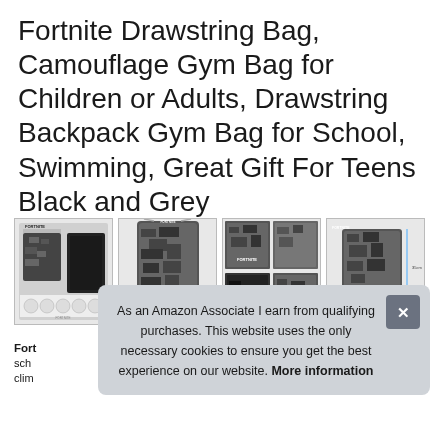Fortnite Drawstring Bag, Camouflage Gym Bag for Children or Adults, Drawstring Backpack Gym Bag for School, Swimming, Great Gift For Teens Black and Grey
[Figure (photo): Four product images of Fortnite camouflage drawstring bags, showing different angles and color variants (black and grey camouflage pattern)]
Fort... sch... clim...
As an Amazon Associate I earn from qualifying purchases. This website uses the only necessary cookies to ensure you get the best experience on our website. More information